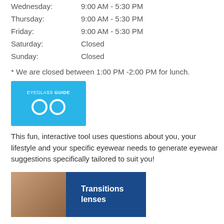Wednesday: 9:00 AM - 5:30 PM
Thursday: 9:00 AM - 5:30 PM
Friday: 9:00 AM - 5:30 PM
Saturday: Closed
Sunday: Closed
* We are closed between 1:00 PM -2:00 PM for lunch.
[Figure (logo): Eyeglass Guide logo — blue rectangle with text EYEGLASS GUIDE and infinity/glasses icon]
This fun, interactive tool uses questions about you, your lifestyle and your specific eyewear needs to generate eyewear suggestions specifically tailored to suit you!
[Figure (photo): Transitions lenses advertisement showing a woman wearing glasses on the left and dark blue panel on the right with text Transitions lenses]